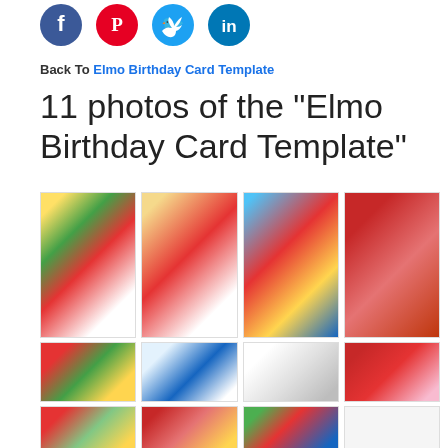[Figure (illustration): Social media icons: Facebook (blue circle), Pinterest (red circle), Twitter (cyan circle), LinkedIn (blue circle)]
Back To Elmo Birthday Card Template
11 photos of the "Elmo Birthday Card Template"
[Figure (photo): Grid of 11 Elmo Birthday Card Template thumbnail images arranged in rows]
[Figure (photo): Second row of Elmo party invitation thumbnails]
[Figure (photo): Third row of Elmo party invitation thumbnails (partial)]